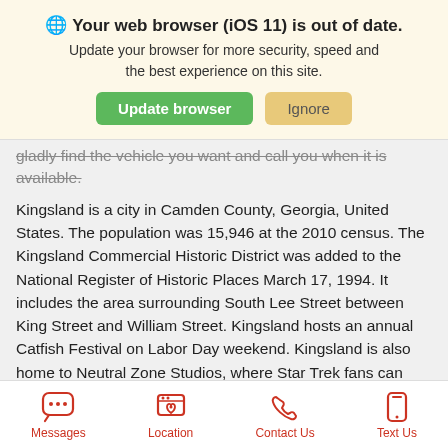🌐 Your web browser (iOS 11) is out of date. Update your browser for more security, speed and the best experience on this site.
gladly find the vehicle you want and call you when it is available.
Kingsland is a city in Camden County, Georgia, United States. The population was 15,946 at the 2010 census. The Kingsland Commercial Historic District was added to the National Register of Historic Places March 17, 1994. It includes the area surrounding South Lee Street between King Street and William Street. Kingsland hosts an annual Catfish Festival on Labor Day weekend. Kingsland is also home to Neutral Zone Studios, where Star Trek fans can come and make Star Trek fan films, the most notable being Star Trek Continues.
Messages | Location | Contact Us | Text Us